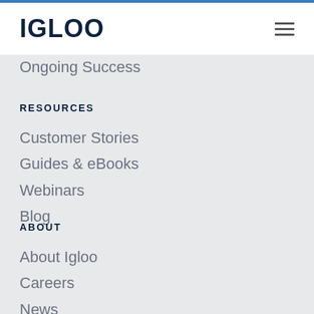IGLOO
Ongoing Success
RESOURCES
Customer Stories
Guides & eBooks
Webinars
Blog
ABOUT
About Igloo
Careers
News